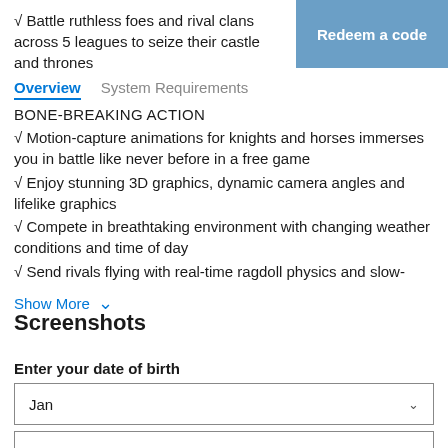√ Battle ruthless foes and rival clans across 5 leagues to seize their castle and thrones
[Figure (other): Blue 'Redeem a code' button in top-right corner]
Overview   System Requirements
BONE-BREAKING ACTION
√ Motion-capture animations for knights and horses immerses you in battle like never before in a free game
√ Enjoy stunning 3D graphics, dynamic camera angles and lifelike graphics
√ Compete in breathtaking environment with changing weather conditions and time of day
√ Send rivals flying with real-time ragdoll physics and slow-
Show More ∨
Screenshots
Enter your date of birth
Jan
1